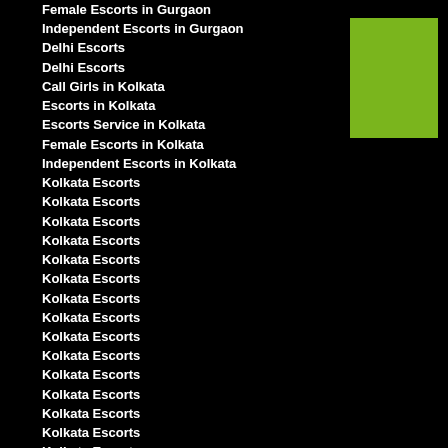Female Escorts in Gurgaon
Independent Escorts in Gurgaon
Delhi Escorts
Delhi Escorts
Call Girls in Kolkata
Escorts in Kolkata
Escorts Service in Kolkata
Female Escorts in Kolkata
Independent Escorts in Kolkata
Kolkata Escorts
Kolkata Escorts
Kolkata Escorts
Kolkata Escorts
Kolkata Escorts
Kolkata Escorts
Kolkata Escorts
Kolkata Escorts
Kolkata Escorts
Kolkata Escorts
Kolkata Escorts
Kolkata Escorts
Kolkata Escorts
Kolkata Escorts
Kolkata Escorts
Kolkata Escorts
Kolkata Escorts
Rajarhat Escorts
Escorts in Rajarhat
Escorts Service in Rajarhat
[Figure (other): Green rectangle decorative box in upper right area]